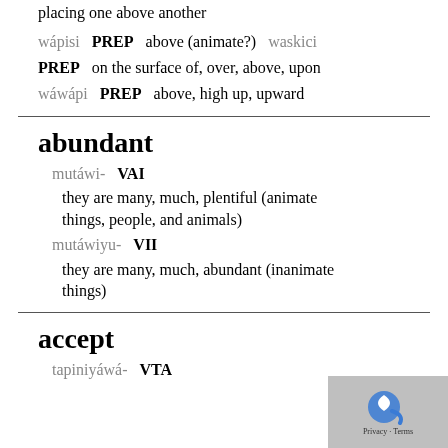placing one above another
wápisi  PREP  above (animate?)  waskici
PREP  on the surface of, over, above, upon
wáwápi  PREP  above, high up, upward
abundant
mutáwi-  VAI
they are many, much, plentiful (animate things, people, and animals)
mutáwiyu-  VII
they are many, much, abundant (inanimate things)
accept
tapiniyáwá-  VTA